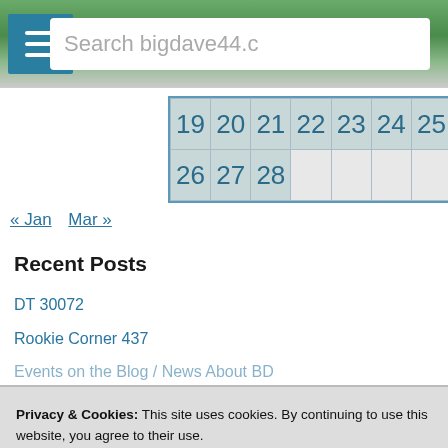[Figure (screenshot): Website header with hamburger menu icon on teal background on left, landscape photo in center, and search box with text 'Search bigdave44.c' on right]
| 19 | 20 | 21 | 22 | 23 | 24 | 25 |
| 26 | 27 | 28 |  |  |  |  |
« Jan   Mar »
Recent Posts
DT 30072
Rookie Corner 437
Events on the Blog / News About BD
Privacy & Cookies: This site uses cookies. By continuing to use this website, you agree to their use.
To find out more, including how to control cookies, see here: Cookie Policy
Close and accept
DT 30070